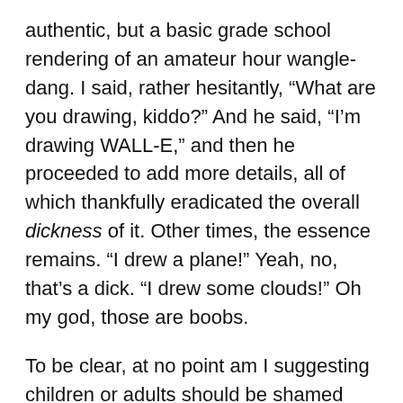authentic, but a basic grade school rendering of an amateur hour wangle-dang. I said, rather hesitantly, “What are you drawing, kiddo?” And he said, “I’m drawing WALL-E,” and then he proceeded to add more details, all of which thankfully eradicated the overall dickness of it. Other times, the essence remains. “I drew a plane!” Yeah, no, that’s a dick. “I drew some clouds!” Oh my god, those are boobs.
To be clear, at no point am I suggesting children or adults should be shamed about body parts — or that they should be unaware of them — just that, they have a limited availability of shapes in their palette, and when they draw, sometimes it’s a stick with a couple of circles at the end.